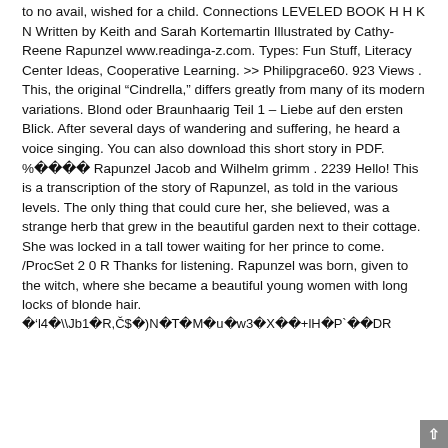to no avail, wished for a child. Connections LEVELED BOOK H H K N Written by Keith and Sarah Kortemartin Illustrated by Cathy-Reene Rapunzel www.readinga-z.com. Types: Fun Stuff, Literacy Center Ideas, Cooperative Learning. >> Philipgrace60. 923 Views . This, the original “Cindrella,” differs greatly from many of its modern variations. Blond oder Braunhaarig Teil 1 – Liebe auf den ersten Blick. After several days of wandering and suffering, he heard a voice singing. You can also download this short story in PDF. %���� Rapunzel Jacob and Wilhelm grimm . 2239 Hello! This is a transcription of the story of Rapunzel, as told in the various levels. The only thing that could cure her, she believed, was a strange herb that grew in the beautiful garden next to their cottage. She was locked in a tall tower waiting for her prince to come. /ProcSet 2 0 R Thanks for listening. Rapunzel was born, given to the witch, where she became a beautiful young women with long locks of blonde hair.
�'l4�\Jb1�R,Č$�)N�T�M�u￿w3�X��+lH�P`��DR